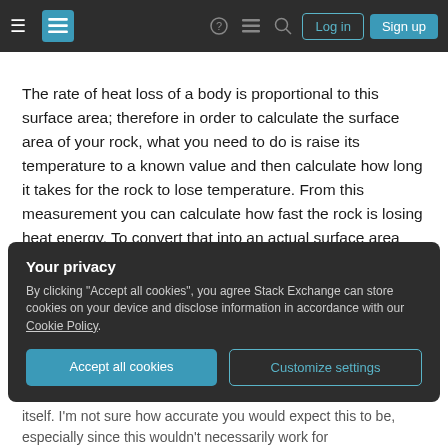Stack Exchange navigation bar with Log in and Sign up buttons
The rate of heat loss of a body is proportional to this surface area; therefore in order to calculate the surface area of your rock, what you need to do is raise its temperature to a known value and then calculate how long it takes for the rock to lose temperature. From this measurement you can calculate how fast the rock is losing heat energy. To convert that into an actual surface area you will need to understand the thermal properties of the rock, and so will either need a sample of similar rock or need to sacrifice a proportion of the rock for testing.
Your privacy
By clicking "Accept all cookies", you agree Stack Exchange can store cookies on your device and disclose information in accordance with our Cookie Policy.
Accept all cookies | Customize settings
itself. I'm not sure how accurate you would expect this to be, especially since this wouldn't necessarily work for